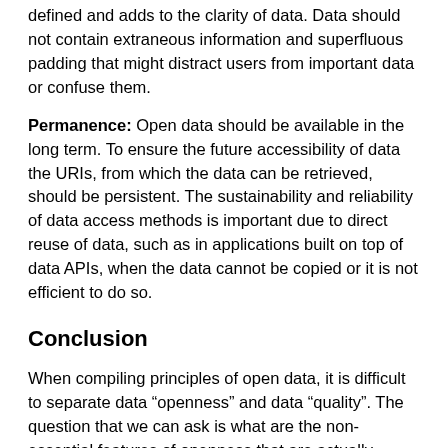defined and adds to the clarity of data. Data should not contain extraneous information and superfluous padding that might distract users from important data or confuse them.
Permanence: Open data should be available in the long term. To ensure the future accessibility of data the URIs, from which the data can be retrieved, should be persistent. The sustainability and reliability of data access methods is important due to direct reuse of data, such as in applications built on top of data APIs, when the data cannot be copied or it is not efficient to do so.
Conclusion
When compiling principles of open data, it is difficult to separate data “openness” and data “quality”. The question that we can ask is what are the non-essential features of openness that are actually features of a more general good design? I would expect the importance of different attributes of data openness depends on the use case. Thus, I have not subjected the principles presented above to a coarse narrowing down to those that seemed the most important to